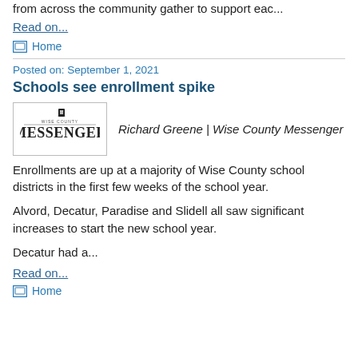from across the community gather to support eac...
Read on...
Home
Posted on: September 1, 2021
Schools see enrollment spike
[Figure (logo): Wise County Messenger newspaper logo]
Richard Greene | Wise County Messenger
Enrollments are up at a majority of Wise County school districts in the first few weeks of the school year.
Alvord, Decatur, Paradise and Slidell all saw significant increases to start the new school year.
Decatur had a...
Read on...
Home